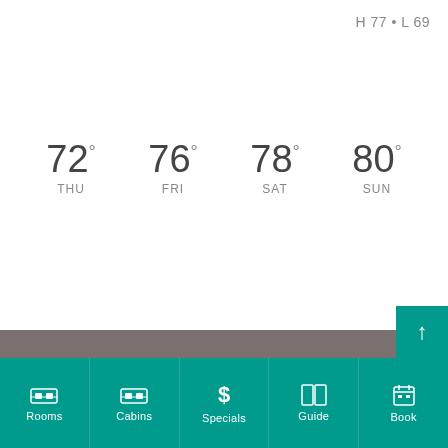H 77 • L 69
72° THU
76° FRI
78° SAT
80° SUN
[Figure (logo): TripAdvisor 2016 Certificate of Excellence badge with owl logo and green circle border]
Rooms
Cabins
Specials
Guide
Book